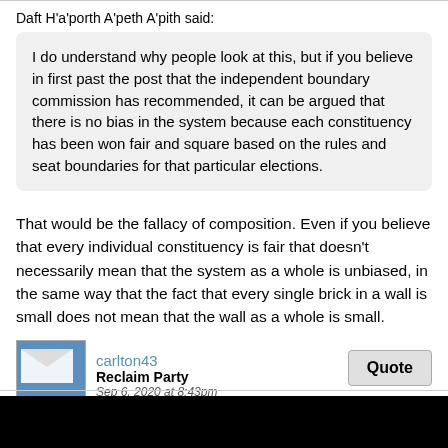Daft H'a'porth A'peth A'pith said:
I do understand why people look at this, but if you believe in first past the post that the independent boundary commission has recommended, it can be argued that there is no bias in the system because each constituency has been won fair and square based on the rules and seat boundaries for that particular elections.
That would be the fallacy of composition. Even if you believe that every individual constituency is fair that doesn't necessarily mean that the system as a whole is unbiased, in the same way that the fact that every single brick in a wall is small does not mean that the wall as a whole is small.
carlton43
Reclaim Party
Sep 6, 2020 at 8:43pm
Quote
greenchristian said:
Daft H'a'porth A'peth A'pith said:
I do understand why people look at this, but if you believe in first past the post that the independent boundary commission has recommended, it can be argued that there is no bias in